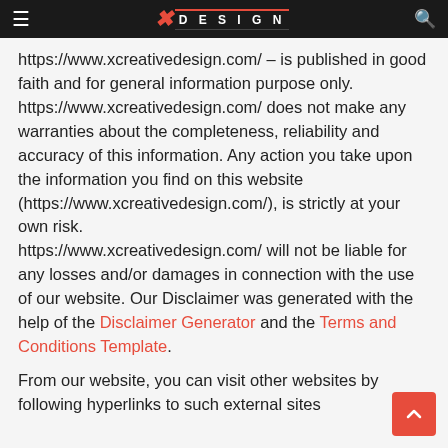X Creative Design
https://www.xcreativedesign.com/ – is published in good faith and for general information purpose only. https://www.xcreativedesign.com/ does not make any warranties about the completeness, reliability and accuracy of this information. Any action you take upon the information you find on this website (https://www.xcreativedesign.com/), is strictly at your own risk. https://www.xcreativedesign.com/ will not be liable for any losses and/or damages in connection with the use of our website. Our Disclaimer was generated with the help of the Disclaimer Generator and the Terms and Conditions Template.
From our website, you can visit other websites by following hyperlinks to such external sites